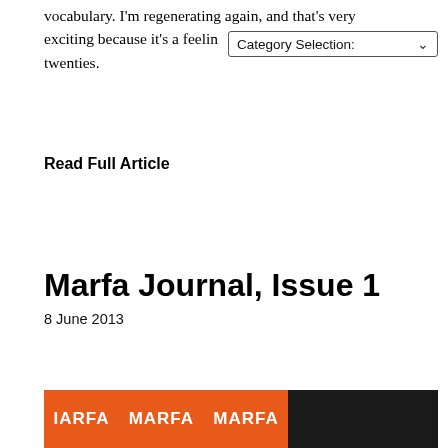vocabulary. I'm regenerating again, and that's very exciting because it's a feelin[g I haven't had since] in my twenties.
Category Selection:
Read Full Article
Marfa Journal, Issue 1
8 June 2013
[Figure (photo): Marfa Journal cover image showing orange banner with 'MARFA' text repeated and a dark photo section on the right]